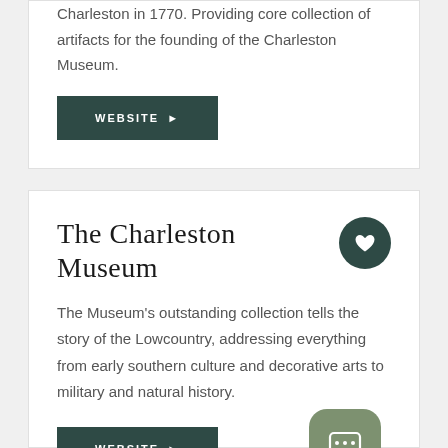Charleston in 1770. Providing core collection of artifacts for the founding of the Charleston Museum.
WEBSITE ▶
The Charleston Museum
The Museum's outstanding collection tells the story of the Lowcountry, addressing everything from early southern culture and decorative arts to military and natural history.
WEBSITE ▶